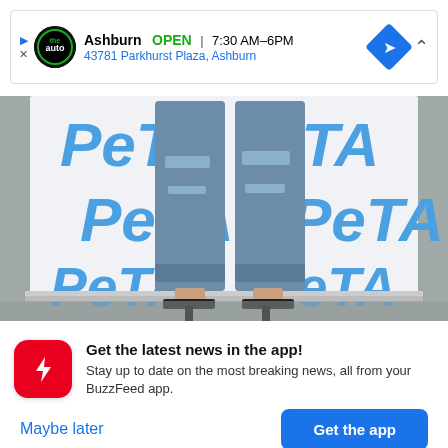[Figure (screenshot): Mobile ad banner for an auto dealership in Ashburn showing OPEN status, hours 7:30 AM-6PM, address 43781 Parkhurst Plaza, Ashburn with navigation icon]
[Figure (photo): Photo of a person's legs wearing ripped jeans and black high heeled sandals standing in front of a PETA branded banner/backdrop]
Get the latest news in the app! Stay up to date on the most breaking news, all from your BuzzFeed app.
Maybe later
Get the app